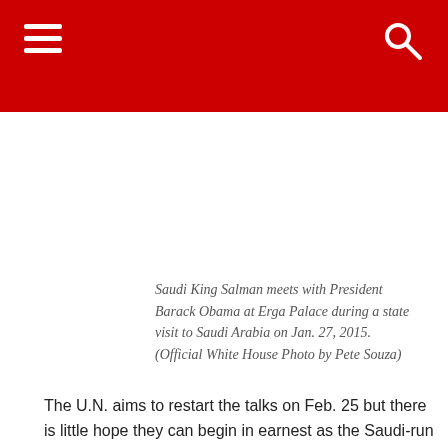Saudi King Salman meets with President Barack Obama at Erga Palace during a state visit to Saudi Arabia on Jan. 27, 2015. (Official White House Photo by Pete Souza)
The U.N. aims to restart the talks on Feb. 25 but there is little hope they can begin in earnest as the Saudi-run opposition has set numerous conditions. The most important is that